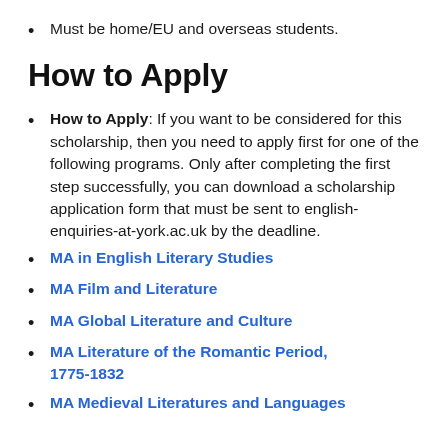Must be home/EU and overseas students.
How to Apply
How to Apply: If you want to be considered for this scholarship, then you need to apply first for one of the following programs. Only after completing the first step successfully, you can download a scholarship application form that must be sent to english-enquiries-at-york.ac.uk by the deadline.
MA in English Literary Studies
MA Film and Literature
MA Global Literature and Culture
MA Literature of the Romantic Period, 1775-1832
MA Medieval Literatures and Languages